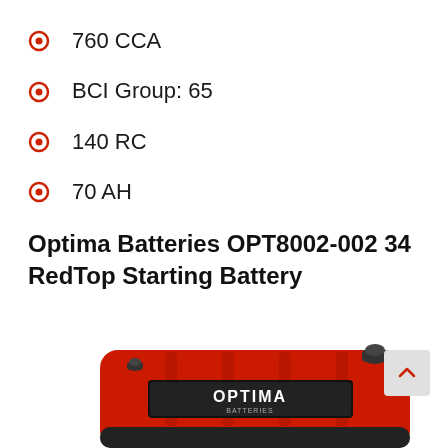760 CCA
BCI Group: 65
140 RC
70 AH
Optima Batteries OPT8002-002 34 RedTop Starting Battery
[Figure (photo): Red Optima battery with OPTIMA BATTERIES branding on the label, showing the top and front of the battery casing]